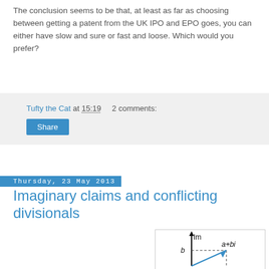The conclusion seems to be that, at least as far as choosing between getting a patent from the UK IPO and EPO goes, you can either have slow and sure or fast and loose. Which would you prefer?
Tufty the Cat at 15:19   2 comments:
Share
Thursday, 23 May 2013
Imaginary claims and conflicting divisionals
[Figure (math-figure): Complex number diagram showing imaginary axis (Im) with a vector from origin to point a+bi, with dashed lines showing real component a and imaginary component b. The vector is drawn in blue.]